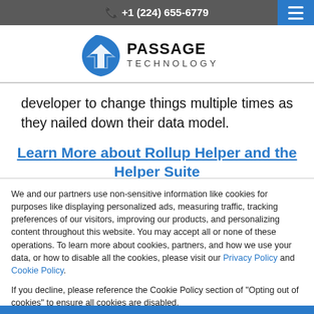+1 (224) 655-6779
[Figure (logo): Passage Technology logo with blue arrow/shield icon and bold text 'PASSAGE TECHNOLOGY']
developer to change things multiple times as they nailed down their data model.
Learn More about Rollup Helper and the Helper Suite
We and our partners use non-sensitive information like cookies for purposes like displaying personalized ads, measuring traffic, tracking preferences of our visitors, improving our products, and personalizing content throughout this website. You may accept all or none of these operations. To learn more about cookies, partners, and how we use your data, or how to disable all the cookies, please visit our Privacy Policy and Cookie Policy.
If you decline, please reference the Cookie Policy section of "Opting out of cookies" to ensure all cookies are disabled.